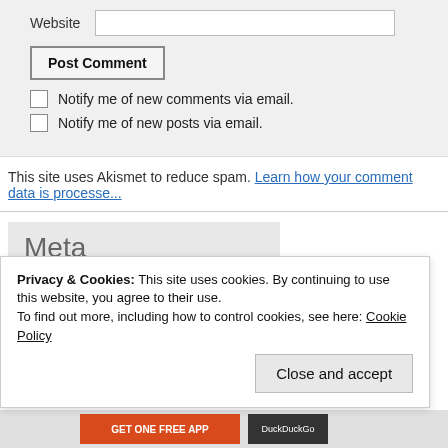Website [input field]
Post Comment
Notify me of new comments via email.
Notify me of new posts via email.
This site uses Akismet to reduce spam. Learn how your comment data is processed.
Meta
Register
Log in
Privacy & Cookies: This site uses cookies. By continuing to use this website, you agree to their use.
To find out more, including how to control cookies, see here: Cookie Policy
Close and accept